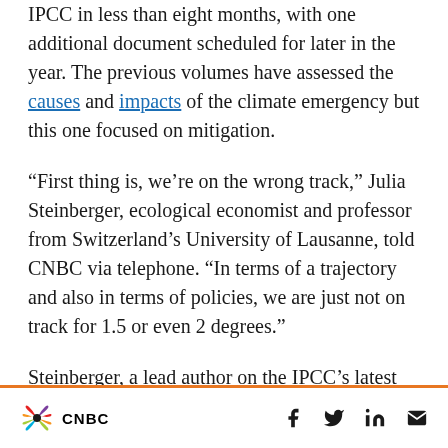IPCC in less than eight months, with one additional document scheduled for later in the year. The previous volumes have assessed the causes and impacts of the climate emergency but this one focused on mitigation.
“First thing is, we’re on the wrong track,” Julia Steinberger, ecological economist and professor from Switzerland’s University of Lausanne, told CNBC via telephone. “In terms of a trajectory and also in terms of policies, we are just not on track for 1.5 or even 2 degrees.”
Steinberger, a lead author on the IPCC’s latest report, described the warning that global
CNBC